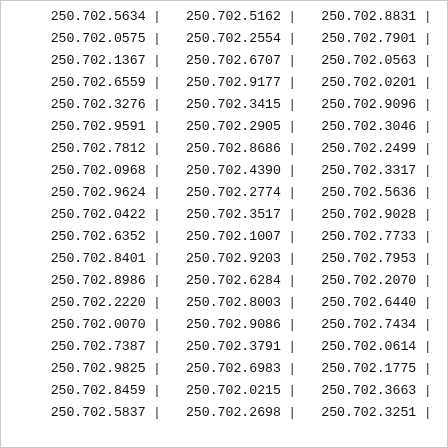| col1 | col2 | col3 |
| --- | --- | --- |
| 250.702.5634 | 250.702.5162 | 250.702.8831 |
| 250.702.0575 | 250.702.2554 | 250.702.7901 |
| 250.702.1367 | 250.702.6707 | 250.702.0563 |
| 250.702.6559 | 250.702.9177 | 250.702.0201 |
| 250.702.3276 | 250.702.3415 | 250.702.9096 |
| 250.702.9591 | 250.702.2905 | 250.702.3046 |
| 250.702.7812 | 250.702.8686 | 250.702.2499 |
| 250.702.0968 | 250.702.4390 | 250.702.3317 |
| 250.702.9624 | 250.702.2774 | 250.702.5636 |
| 250.702.0422 | 250.702.3517 | 250.702.9028 |
| 250.702.6352 | 250.702.1007 | 250.702.7733 |
| 250.702.8401 | 250.702.9203 | 250.702.7953 |
| 250.702.8986 | 250.702.6284 | 250.702.2070 |
| 250.702.2220 | 250.702.8003 | 250.702.6440 |
| 250.702.0070 | 250.702.9086 | 250.702.7434 |
| 250.702.7387 | 250.702.3791 | 250.702.0614 |
| 250.702.9825 | 250.702.6983 | 250.702.1775 |
| 250.702.8459 | 250.702.0215 | 250.702.3663 |
| 250.702.5837 | 250.702.2698 | 250.702.3251 |